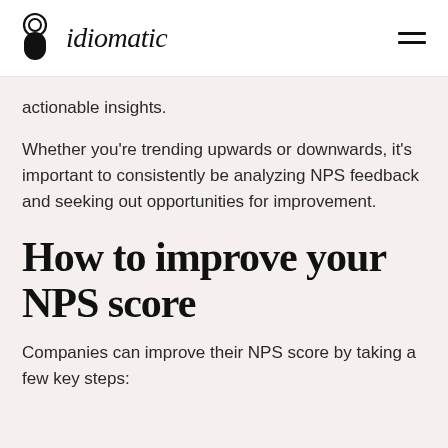idiomatic
actionable insights.
Whether you’re trending upwards or downwards, it’s important to consistently be analyzing NPS feedback and seeking out opportunities for improvement.
How to improve your NPS score
Companies can improve their NPS score by taking a few key steps: